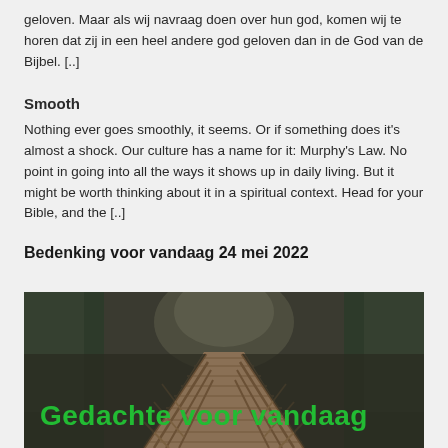geloven. Maar als wij navraag doen over hun god, komen wij te horen dat zij in een heel andere god geloven dan in de God van de Bijbel. [..]
Smooth
Nothing ever goes smoothly, it seems. Or if something does it's almost a shock. Our culture has a name for it: Murphy's Law. No point in going into all the ways it shows up in daily living. But it might be worth thinking about it in a spiritual context. Head for your Bible, and the [..]
Bedenking voor vandaag 24 mei 2022
[Figure (photo): A wooden bridge / walkway perspective view through trees, with green overlay text reading 'Gedachte voor vandaag']